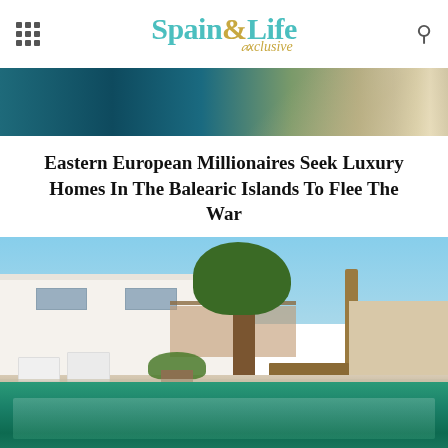Spain & Life Exclusive
[Figure (photo): Aerial or coastal photo showing blue-green water and a boat/coastline, partially visible at top]
Eastern European Millionaires Seek Luxury Homes In The Balearic Islands To Flee The War
[Figure (photo): Luxury villa with white architecture, swimming pool, trees (pine and palm), outdoor patio area, and outdoor furniture in the Balearic Islands]